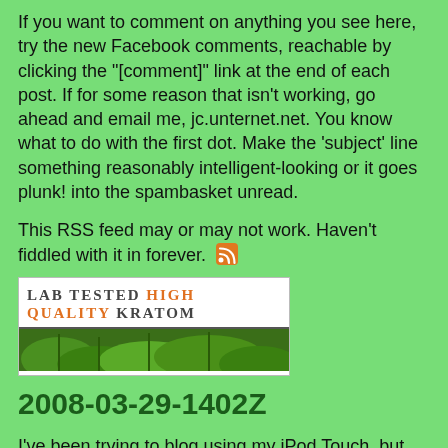If you want to comment on anything you see here, try the new Facebook comments, reachable by clicking the "[comment]" link at the end of each post. If for some reason that isn't working, go ahead and email me, jc.unternet.net. You know what to do with the first dot. Make the 'subject' line something reasonably intelligent-looking or it goes plunk! into the spambasket unread.
This RSS feed may or may not work. Haven't fiddled with it in forever. [RSS icon]
[Figure (illustration): Advertisement banner for LAB TESTED HIGH QUALITY KRATOM with green plant imagery below the text]
2008-03-29-1402Z
I've been trying to blog using my iPod Touch, but haven't yet figured out how to use vi with it; it segfaults on the iPod itself, and when ssh'ing to my server the line I'm entering doesn't appear till I'm done typing it. Probably need to stty cols or something; I'll play with it as I have time. The small screen is making my eyes strain, and my already-bad vision